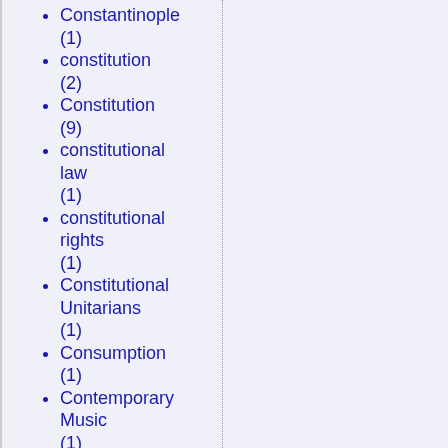Constantinople (1)
constitution (2)
Constitution (9)
constitutional law (1)
constitutional rights (1)
Constitutional Unitarians (1)
Consumption (1)
Contemporary Music (1)
contraception (4)
contraceptive mandate (1)